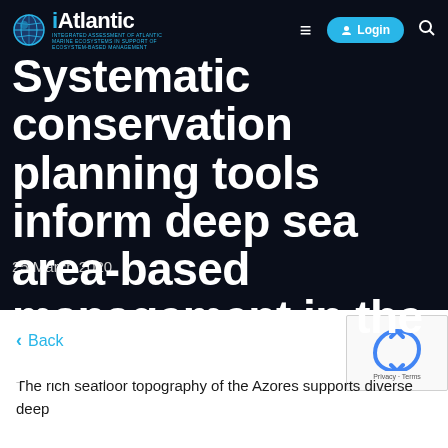iAtlantic — INTEGRATED ASSESSMENT OF ATLANTIC MARINE ECOSYSTEMS IN SUPPORT OF ECOSYSTEM-BASED MANAGEMENT
Systematic conservation planning tools inform deep sea area-based management in the Azores
25 March 2020
‹ Back
The rich seafloor topography of the Azores supports diverse deep